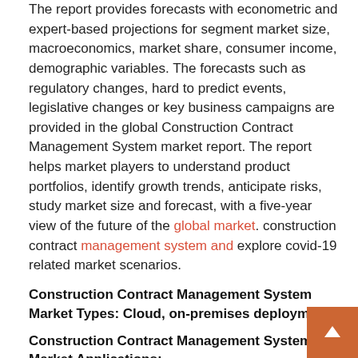The report provides forecasts with econometric and expert-based projections for segment market size, macroeconomics, market share, consumer income, demographic variables. The forecasts such as regulatory changes, hard to predict events, legislative changes or key business campaigns are provided in the global Construction Contract Management System market report. The report helps market players to understand product portfolios, identify growth trends, anticipate risks, study market size and forecast, with a five-year view of the future of the global market. construction contract management system and explore covid-19 related market scenarios.
Construction Contract Management System Market Types: Cloud, on-premises deployment
Construction Contract Management System Market Applications:
Construction Company, Building Materials Company, Government Agency